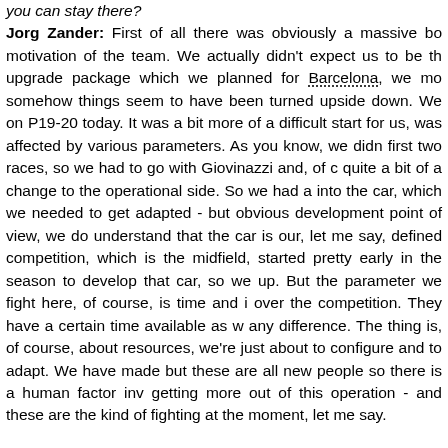you can stay there? Jorg Zander: First of all there was obviously a massive boost to the motivation of the team. We actually didn't expect us to be there. With the upgrade package which we planned for Barcelona, we moved forward, somehow things seem to have been turned upside down. We ended up on P19-20 today. It was a bit more of a difficult start for us, which was affected by various parameters. As you know, we didn't have the first two races, so we had to go with Giovinazzi and, of course, quite a bit of a change to the operational side. So we had a new driver into the car, which we needed to get adapted - but obviously, from a development point of view, we do understand that the car is behind our, let me say, defined competition, which is the midfield, and we started pretty early in the season to develop that car, so we will catch up. But the parameter we fight here, of course, is time and it's the same over the competition. They have a certain time available as well to make any difference. The thing is, of course, about resources, which we're just about to configure and to adapt. We have made investments, but these are all new people so there is a human factor involved in getting more out of this operation - and these are the kind of things we're fighting at the moment, let me say.
Q: You mentioned today P19-20. It looked a bit of a struggle out on circuit. The car didn't look too bad but the times we...